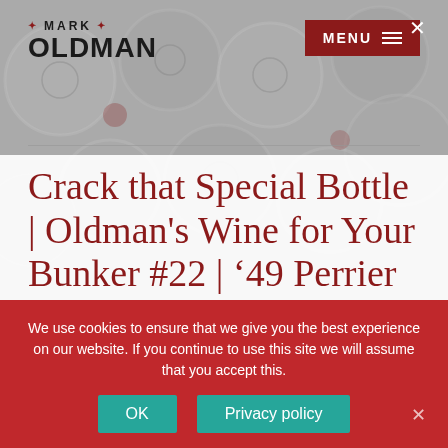[Figure (screenshot): Mark Oldman website screenshot showing logo, menu button, background of blurred wine bottle caps, article title, and cookie consent banner]
Crack that Special Bottle | Oldman's Wine for Your Bunker #22 | '49 Perrier Jouet Champagne
We use cookies to ensure that we give you the best experience on our website. If you continue to use this site we will assume that you accept this.